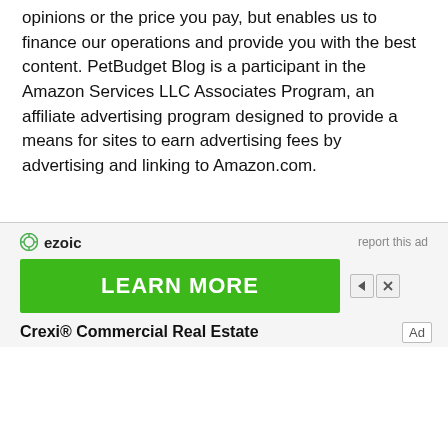opinions or the price you pay, but enables us to finance our operations and provide you with the best content. PetBudget Blog is a participant in the Amazon Services LLC Associates Program, an affiliate advertising program designed to provide a means for sites to earn advertising fees by advertising and linking to Amazon.com.
[Figure (screenshot): Ezoic advertisement banner with 'LEARN MORE' green button and 'Crexi® Commercial Real Estate' text, with ad controls and 'report this ad' link]